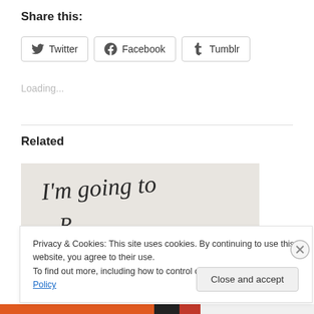Share this:
Twitter  Facebook  Tumblr
Loading...
Related
[Figure (photo): Handwritten text on paper reading 'I'm going to' with partial text below]
Privacy & Cookies: This site uses cookies. By continuing to use this website, you agree to their use.
To find out more, including how to control cookies, see here: Cookie Policy
Close and accept